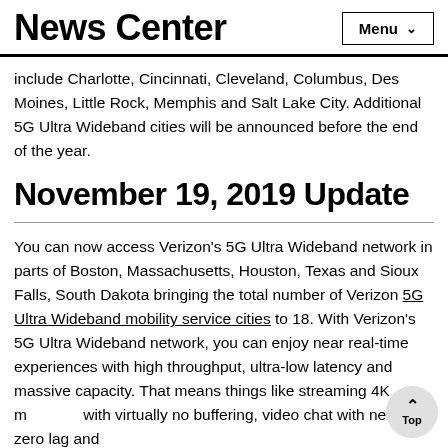News Center
include Charlotte, Cincinnati, Cleveland, Columbus, Des Moines, Little Rock, Memphis and Salt Lake City. Additional 5G Ultra Wideband cities will be announced before the end of the year.
November 19, 2019 Update
You can now access Verizon's 5G Ultra Wideband network in parts of Boston, Massachusetts, Houston, Texas and Sioux Falls, South Dakota bringing the total number of Verizon 5G Ultra Wideband mobility service cities to 18. With Verizon's 5G Ultra Wideband network, you can enjoy near real-time experiences with high throughput, ultra-low latency and massive capacity. That means things like streaming 4K m... with virtually no buffering, video chat with near zero lag and